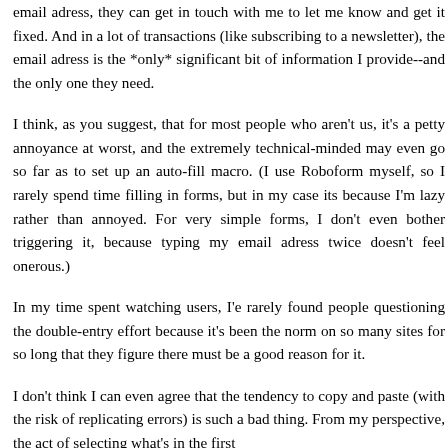email adress, they can get in touch with me to let me know and get it fixed. And in a lot of transactions (like subscribing to a newsletter), the email adress is the *only* significant bit of information I provide--and the only one they need.
I think, as you suggest, that for most people who aren't us, it's a petty annoyance at worst, and the extremely technical-minded may even go so far as to set up an auto-fill macro. (I use Roboform myself, so I rarely spend time filling in forms, but in my case its because I'm lazy rather than annoyed. For very simple forms, I don't even bother triggering it, because typing my email adress twice doesn't feel onerous.)
In my time spent watching users, I'e rarely found people questioning the double-entry effort because it's been the norm on so many sites for so long that they figure there must be a good reason for it.
I don't think I can even agree that the tendency to copy and paste (with the risk of replicating errors) is such a bad thing. From my perspective, the act of selecting what's in the first